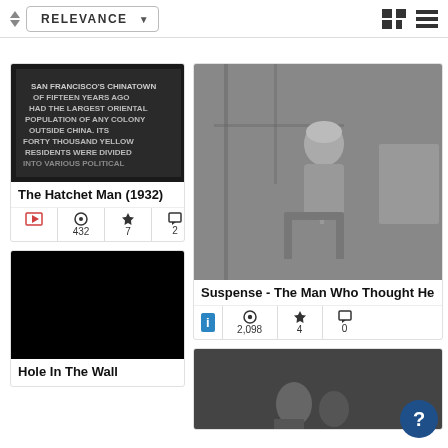RELEVANCE (sort selector with grid and list view icons)
[Figure (screenshot): Black and white still frame with white text about San Francisco's Chinatown population]
The Hatchet Man (1932)
432 views, 7 favorites, 2 comments
[Figure (photo): Black and white photo of a man in helmet sitting on scaffolding or equipment]
Suspense - The Man Who Thought He
2,098 views, 4 favorites, 0 comments
[Figure (photo): Solid black image placeholder]
Hole In The Wall
[Figure (photo): Black and white photo of people at bottom of image]